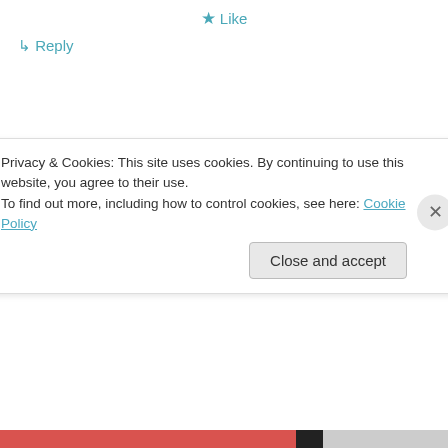★ Like
↳ Reply
Ken on May 4, 2012 at 3:12 pm
👍 0 👎 0 ℹ Rate This
I make no assignments for anyone, I only point
Privacy & Cookies: This site uses cookies. By continuing to use this website, you agree to their use.
To find out more, including how to control cookies, see here: Cookie Policy
Close and accept